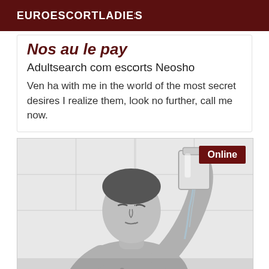EUROESCORTLADIES
Nos au le pay
Adultsearch com escorts Neosho
Ven ha with me in the world of the most secret desires I realize them, look no further, call me now.
[Figure (photo): Black and white photo of a shirtless man pouring water from a large glass pitcher or cup over his face/head, with tiled wall background. An 'Online' badge appears in the top right corner of the photo.]